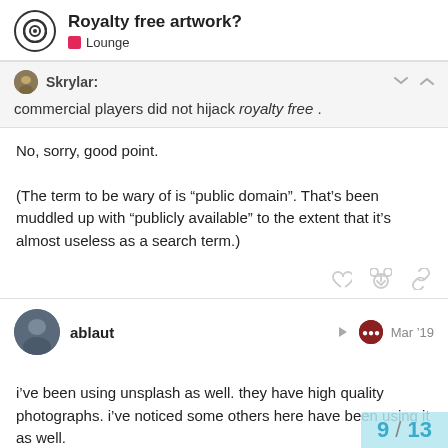Royalty free artwork? — Lounge
Skrylar: commercial players did not hijack royalty free .
No, sorry, good point.
(The term to be wary of is “public domain”. That’s been muddled up with “publicly available” to the extent that it’s almost useless as a search term.)
ablaut — Mar ’19
i’ve been using unsplash as well. they have high quality photographs. i’ve noticed some others here have been using it as well.
9 / 13